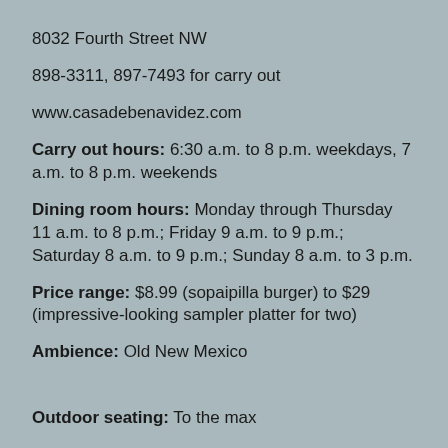8032 Fourth Street NW
898-3311, 897-7493 for carry out
www.casadebenavidez.com
Carry out hours: 6:30 a.m. to 8 p.m. weekdays, 7 a.m. to 8 p.m. weekends
Dining room hours: Monday through Thursday 11 a.m. to 8 p.m.; Friday 9 a.m. to 9 p.m.; Saturday 8 a.m. to 9 p.m.; Sunday 8 a.m. to 3 p.m.
Price range: $8.99 (sopaipilla burger) to $29 (impressive-looking sampler platter for two)
Ambience: Old New Mexico
Outdoor seating: To the max